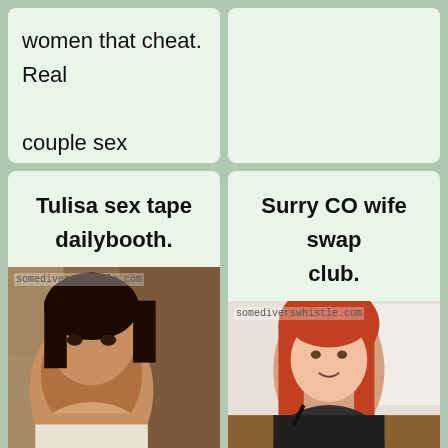women that cheat. Real couple sex swapping.
Tulisa sex tape dailybooth.
Surry CO wife swap club.
[Figure (photo): Photo of a dark-haired woman with watermark somediverswhistle.com]
[Figure (photo): Photo of a red-haired woman with watermark somediverswhistle.com]